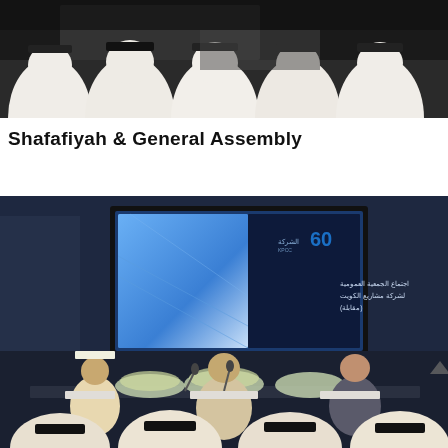[Figure (photo): Photo of men in traditional Gulf attire seated with backs to camera in a meeting room, viewed from behind.]
Shafafiyah & General Assembly
[Figure (photo): Photo of a formal corporate general assembly meeting. Three people sit at a head table with microphones and flowers. Behind them is a large screen displaying a presentation slide with Arabic text and the KPC/KPCC logo. Audience members in traditional Gulf attire are visible in the foreground with backs to camera.]